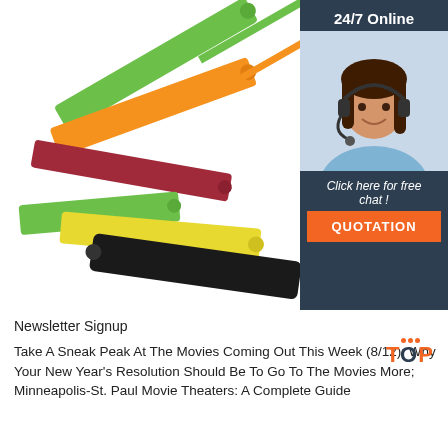[Figure (photo): Colorful plastic cable ties/tags in green, orange, red, yellow, and black arranged in a pile on white background]
[Figure (infographic): Advertisement banner with dark blue background showing a female customer service agent with headset, text '24/7 Online', 'Click here for free chat!', and orange QUOTATION button]
Newsletter Signup
Take A Sneak Peak At The Movies Coming Out This Week (8/12); Why Your New Year's Resolution Should Be To Go To The Movies More; Minneapolis-St. Paul Movie Theaters: A Complete Guide